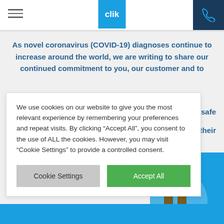[Figure (screenshot): Website header with hamburger menu icon on left, blue 'clik' logo box in center, dark navy phone icon box on right]
As novel coronavirus (COVID-19) diagnoses continue to increase around the world, we are writing to share our continued commitment to you, our customer and to
vide a safe
king after their
We use cookies on our website to give you the most relevant experience by remembering your preferences and repeat visits. By clicking "Accept All", you consent to the use of ALL the cookies. However, you may visit "Cookie Settings" to provide a controlled consent.
Cookie Settings
Accept All